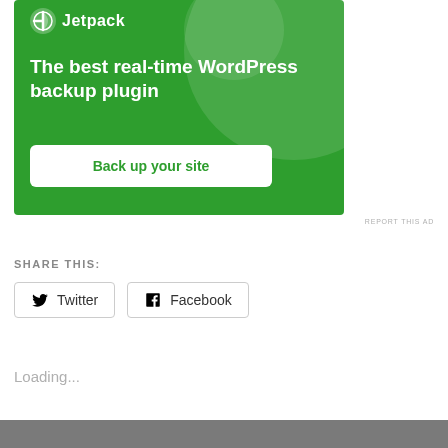[Figure (screenshot): Jetpack advertisement banner with green background. Shows Jetpack logo at top, headline text 'The best real-time WordPress backup plugin', and a white 'Back up your site' button.]
REPORT THIS AD
SHARE THIS:
Twitter
Facebook
Loading...